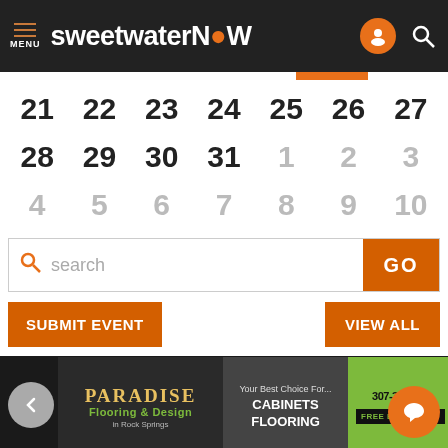MENU sweetwaterNOW
| 21 | 22 | 23 | 24 | 25 | 26 | 27 |
| 28 | 29 | 30 | 31 | 1 | 2 | 3 |
| 4 | 5 | 6 | 7 | 8 | 9 | 10 |
search GO
SUBMIT EVENT   VIEW ALL
[Figure (photo): Paradise Flooring & Design advertisement banner - Your Best Choice For... CABINETS FLOORING, 307-362-845, FREE ESTIMATES! in Rock Springs]